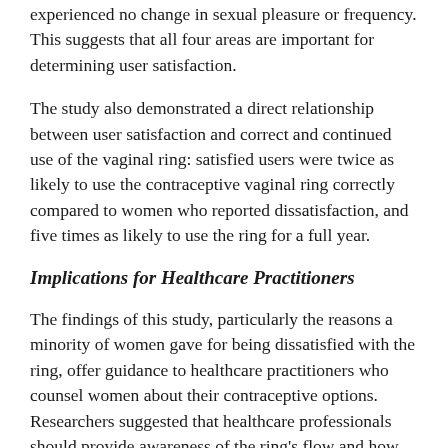experienced no change in sexual pleasure or frequency. This suggests that all four areas are important for determining user satisfaction.
The study also demonstrated a direct relationship between user satisfaction and correct and continued use of the vaginal ring: satisfied users were twice as likely to use the contraceptive vaginal ring correctly compared to women who reported dissatisfaction, and five times as likely to use the ring for a full year.
Implications for Healthcare Practitioners
The findings of this study, particularly the reasons a minority of women gave for being dissatisfied with the ring, offer guidance to healthcare practitioners who counsel women about their contraceptive options. Researchers suggested that healthcare professionals should provide awareness of the ring's flow and how...